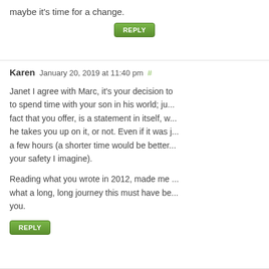maybe it's time for a change.
[Figure (other): Green REPLY button]
Karen January 20, 2019 at 11:40 pm #
Janet I agree with Marc, it's your decision to spend time with your son in his world; just the fact that you offer, is a statement in itself, whether he takes you up on it, or not. Even if it was just a few hours (a shorter time would be better for your safety I imagine).
Reading what you wrote in 2012, made me realize what a long, long journey this must have been for you.
[Figure (other): Green REPLY button]